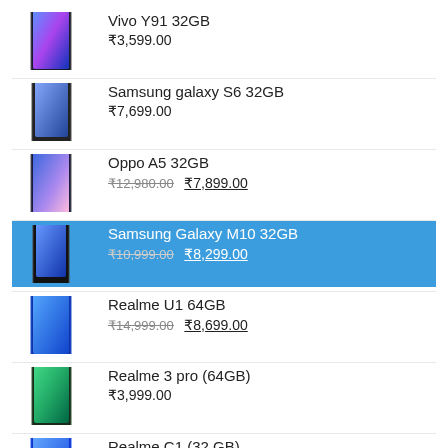Vivo Y91 32GB | ₹3,599.00
Samsung galaxy S6 32GB | ₹7,699.00
Oppo A5 32GB | ₹12,980.00 ₹7,899.00
Samsung Galaxy M10 32GB | ₹10,999.00 ₹8,299.00
Realme U1 64GB | ₹14,999.00 ₹8,699.00
Realme 3 pro (64GB) | ₹3,999.00
Realme C1 (32 GB) | ₹2,699.00